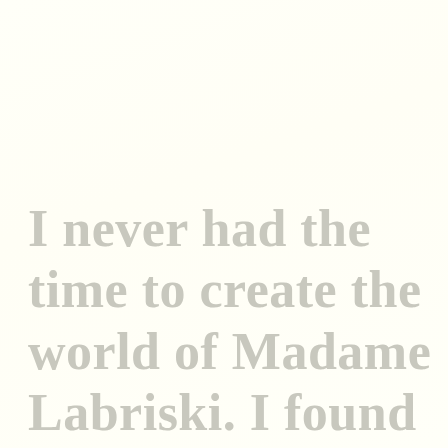I never had the time to create the world of Madame Labriski. I found the time.